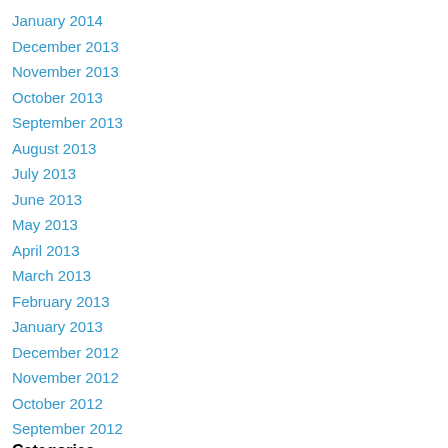January 2014
December 2013
November 2013
October 2013
September 2013
August 2013
July 2013
June 2013
May 2013
April 2013
March 2013
February 2013
January 2013
December 2012
November 2012
October 2012
September 2012
Categories
All
10th Day Of Christmas